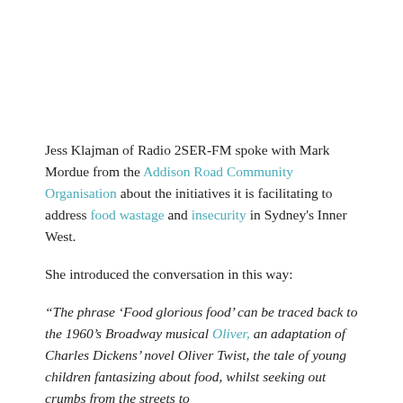Jess Klajman of Radio 2SER-FM spoke with Mark Mordue from the Addison Road Community Organisation about the initiatives it is facilitating to address food wastage and insecurity in Sydney's Inner West.
She introduced the conversation in this way:
“The phrase ‘Food glorious food’ can be traced back to the 1960’s Broadway musical Oliver, an adaptation of Charles Dickens’ novel Oliver Twist, the tale of young children fantasizing about food, whilst seeking out crumbs from the streets to